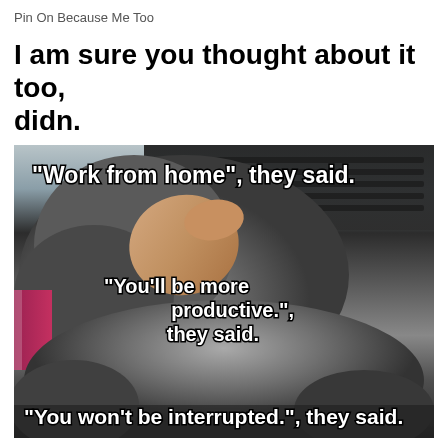Pin On Because Me Too
I am sure you thought about it too, didn.
[Figure (photo): A meme image showing a gray cat lying on a person's arm on a laptop keyboard, with three text overlays: '"Work from home", they said.' at the top, '"You'll be more productive.", they said.' in the middle-right, and '"You won't be interrupted.", they said.' at the bottom.]